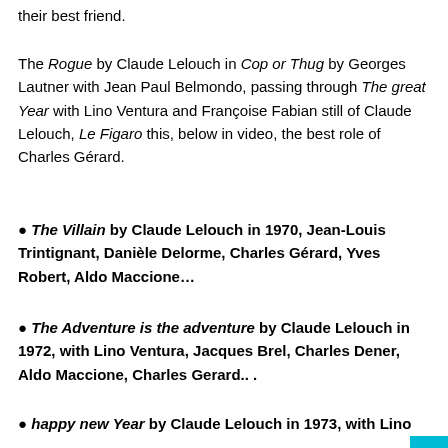their best friend.
The Rogue by Claude Lelouch in Cop or Thug by Georges Lautner with Jean Paul Belmondo, passing through The great Year with Lino Ventura and Françoise Fabian still of Claude Lelouch, Le Figaro this, below in video, the best role of Charles Gérard.
• The Villain by Claude Lelouch in 1970, Jean-Louis Trintignant, Danièle Delorme, Charles Gérard, Yves Robert, Aldo Maccione…
• The Adventure is the adventure by Claude Lelouch in 1972, with Lino Ventura, Jacques Brel, Charles Dener, Aldo Maccione, Charles Gerard.. .
• happy new Year by Claude Lelouch in 1973, with Lino